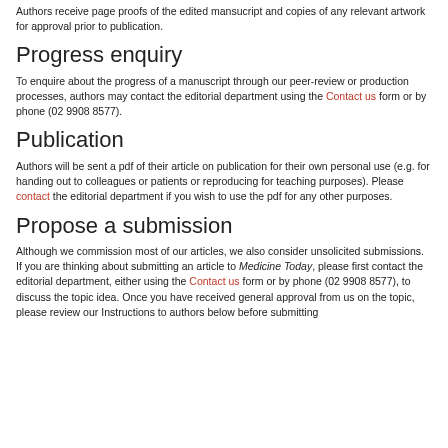Authors receive page proofs of the edited mansucript and copies of any relevant artwork for approval prior to publication.
Progress enquiry
To enquire about the progress of a manuscript through our peer-review or production processes, authors may contact the editorial department using the Contact us form or by phone (02 9908 8577).
Publication
Authors will be sent a pdf of their article on publication for their own personal use (e.g. for handing out to colleagues or patients or reproducing for teaching purposes). Please contact the editorial department if you wish to use the pdf for any other purposes.
Propose a submission
Although we commission most of our articles, we also consider unsolicited submissions. If you are thinking about submitting an article to Medicine Today, please first contact the editorial department, either using the Contact us form or by phone (02 9908 8577), to discuss the topic idea. Once you have received general approval from us on the topic, please review our Instructions to authors below before submitting